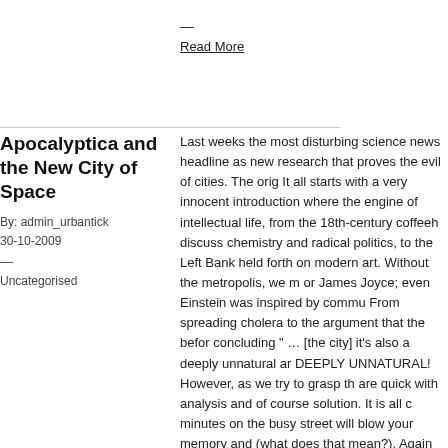—
Read More
Apocalyptica and the New City of Space
By: admin_urbantick
30-10-2009
—
Uncategorised
Last weeks the most disturbing science news headline as new research that proves the evil of cities. The orig It all starts with a very innocent introduction where the engine of intellectual life, from the 18th-century coffeeh discuss chemistry and radical politics, to the Left Bank held forth on modern art. Without the metropolis, we m or James Joyce; even Einstein was inspired by commu From spreading cholera to the argument that the befor concluding " … [the city] it's also a deeply unnatural ar DEEPLY UNNATURAL! However, as we try to grasp th are quick with analysis and of course solution. It is all c minutes on the busy street will blow your memory and (what does that mean?). Again with a very pointy argu comes in the form of the acceptance that "The mind is first solution comes in the form of "One of the main for that this is not actually a solution , but rather an other a implies to be a solution. And it does not stop there it st hammer solving ALL! the problems: "…that hospital pa trees from their windows, and that women living in pub apartment overlooks a grassy courtyard"